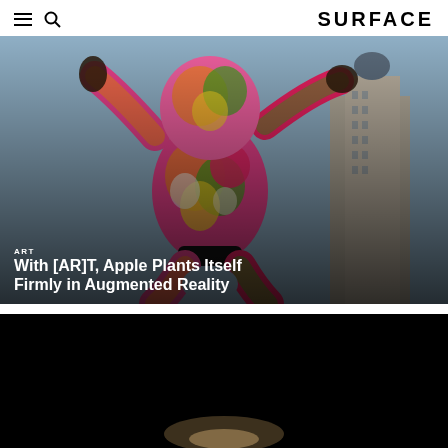SURFACE
[Figure (photo): Large colorful human figure sculpture with floral pattern clothing, arms raised, photographed against city skyline with buildings. Overlaid text reads ART / With [AR]T, Apple Plants Itself Firmly in Augmented Reality]
ART
With [AR]T, Apple Plants Itself Firmly in Augmented Reality
[Figure (photo): Dark/black background photo, partially visible, bottom of page]